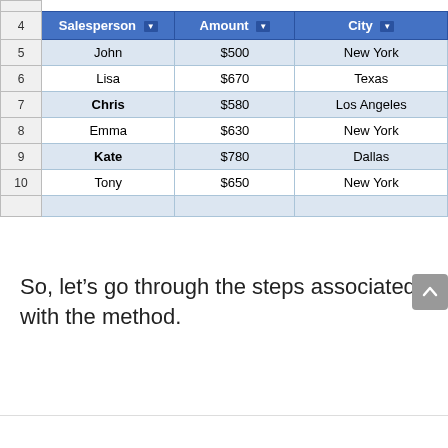| Salesperson | Amount | City |
| --- | --- | --- |
| John | $500 | New York |
| Lisa | $670 | Texas |
| Chris | $580 | Los Angeles |
| Emma | $630 | New York |
| Kate | $780 | Dallas |
| Tony | $650 | New York |
So, let’s go through the steps associated with the method.